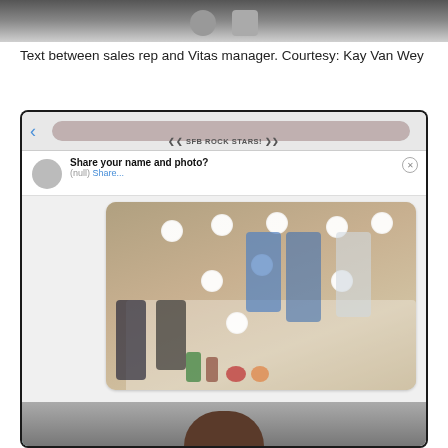[Figure (screenshot): Partial screenshot of a phone screen showing top portion of a messaging app interface, cropped at top of page]
Text between sales rep and Vitas manager. Courtesy: Kay Van Wey
[Figure (screenshot): Screenshot of a phone displaying a group messaging app (SFB ROCK STARS! group), showing a shared photo of people sitting and standing around a table in what appears to be a break room. Faces are blurred. A 'Share your name and photo?' prompt appears at the top. A red heart reaction is visible. A Translate toolbar with US flag appears at the bottom left. A partial selfie of a person is visible at the bottom right.]